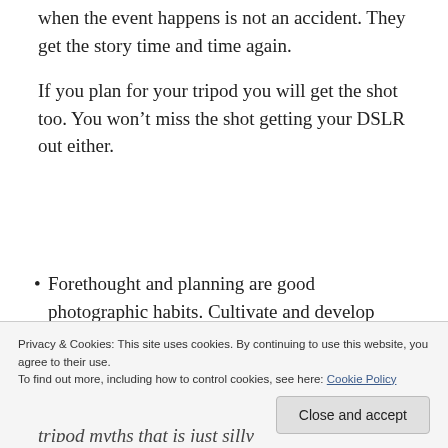when the event happens is not an accident. They get the story time and time again.
If you plan for your tripod you will get the shot too. You won’t miss the shot getting your DSLR out either.
Forethought and planning are good photographic habits. Cultivate and develop these skills. You get the shot, and it’ll be sharper. If you are going to shoot, do it properly. Have both camera and tripod ready. Don’t
tripod myths that is just silly